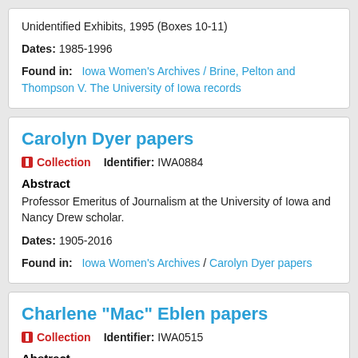Unidentified Exhibits, 1995 (Boxes 10-11)
Dates: 1985-1996
Found in: Iowa Women's Archives / Brine, Pelton and Thompson V. The University of Iowa records
Carolyn Dyer papers
Collection  Identifier: IWA0884
Abstract
Professor Emeritus of Journalism at the University of Iowa and Nancy Drew scholar.
Dates: 1905-2016
Found in: Iowa Women's Archives / Carolyn Dyer papers
Charlene "Mac" Eblen papers
Collection  Identifier: IWA0515
Abstract